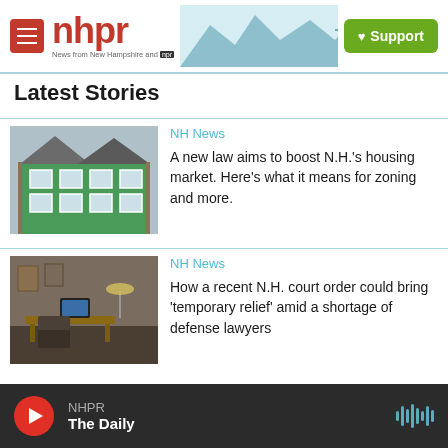nhpr — News from New Hampshire and NPR — Support
Latest Stories
[Figure (photo): Green multi-story house under construction]
NH News
A new law aims to boost N.H.'s housing market. Here's what it means for zoning and more.
[Figure (photo): Office or study room interior with furniture]
NH News
How a recent N.H. court order could bring 'temporary relief' amid a shortage of defense lawyers
NHPR The Daily